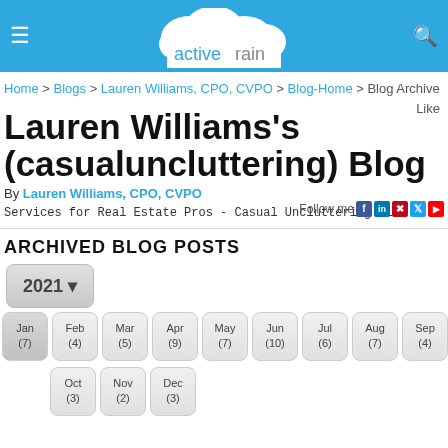[Figure (screenshot): ActiveRain website header bar with hamburger menu, cloud logo, and search icon]
Home > Blogs > Lauren Williams, CPO, CVPO > Blog-Home > Blog Archive
Lauren Williams's (casualuncluttering) Blog
By Lauren Williams, CPO, CVPO
Services for Real Estate Pros - Casual Uncluttering LLC
ARCHIVED BLOG POSTS
2021
Jan (7) Feb (4) Mar (5) Apr (9) May (7) Jun (10) Jul (6) Aug (7) Sep (4) Oct (3) Nov (2) Dec (3)